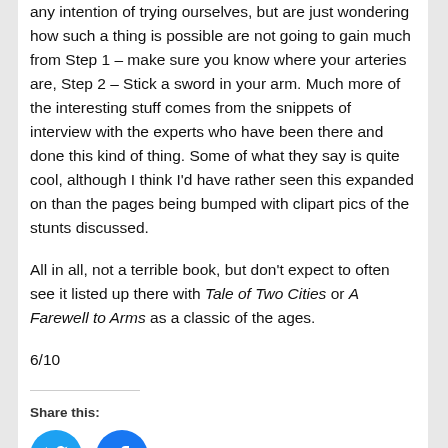any intention of trying ourselves, but are just wondering how such a thing is possible are not going to gain much from Step 1 – make sure you know where your arteries are, Step 2 – Stick a sword in your arm.  Much more of the interesting stuff comes from the snippets of interview with the experts who have been there and done this kind of thing.  Some of what they say is quite cool, although I think I'd have rather seen this expanded on than the pages being bumped with clipart pics of the stunts discussed.
All in all, not a terrible book, but don't expect to often see it listed up there with Tale of Two Cities or A Farewell to Arms as a classic of the ages.
6/10
Share this:
[Figure (other): Twitter and Facebook social share icon buttons (blue circles with white bird and f icons)]